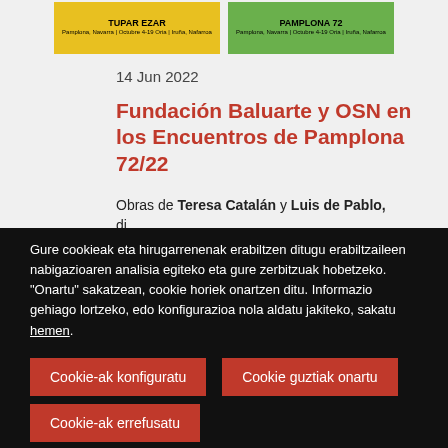[Figure (illustration): Two event banners side by side: left yellow banner with text 'TUPAR EZAR' and event details, right green banner with text 'PAMPLONA 72' and event details.]
14 Jun 2022
Fundación Baluarte y OSN en los Encuentros de Pamplona 72/22
Obras de Teresa Catalán y Luis de Pablo, di...
Gure cookieak eta hirugarrenenak erabiltzen ditugu erabiltzaileen nabigazioaren analisia egiteko eta gure zerbitzuak hobetzeko.
"Onartu" sakatzean, cookie horiek onartzen ditu. Informazio gehiago lortzeko, edo konfigurazioa nola aldatu jakiteko, sakatu hemen.
Cookie-ak konfiguratu
Cookie guztiak onartu
Cookie-ak errefusatu